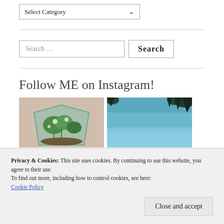Select Category
Search …
Follow ME on Instagram!
[Figure (photo): Instagram photo of a plant terrarium with green foliage in a glass container]
[Figure (photo): Instagram photo of a blue sky with dark tree silhouettes in the corners]
Privacy & Cookies: This site uses cookies. By continuing to use this website, you agree to their use.
To find out more, including how to control cookies, see here:
Cookie Policy
Close and accept